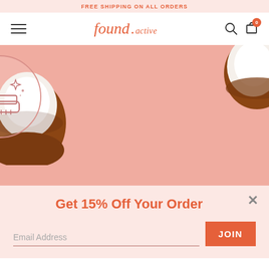FREE SHIPPING ON ALL ORDERS
found. active
[Figure (screenshot): Hero section with pink background showing two coconut halves on left and right edges, a circular icon in the center depicting a scrub brush with sparkle/shine marks]
Scrubs Away Impurities
Get rid of what you
Get 15% Off Your Order
Email Address
JOIN